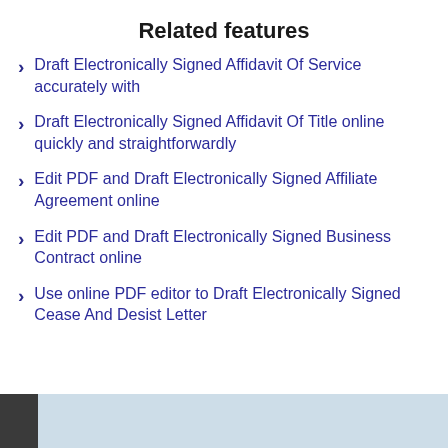Related features
Draft Electronically Signed Affidavit Of Service accurately with
Draft Electronically Signed Affidavit Of Title online quickly and straightforwardly
Edit PDF and Draft Electronically Signed Affiliate Agreement online
Edit PDF and Draft Electronically Signed Business Contract online
Use online PDF editor to Draft Electronically Signed Cease And Desist Letter
[Figure (photo): Partial view of a document or interface screenshot at the bottom of the page]